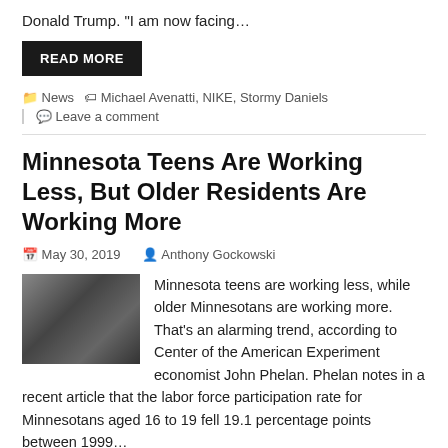Donald Trump. “I am now facing…
READ MORE
📁 News   🏷️ Michael Avenatti, NIKE, Stormy Daniels
💬 Leave a comment
Minnesota Teens Are Working Less, But Older Residents Are Working More
May 30, 2019   Anthony Gockowski
Minnesota teens are working less, while older Minnesotans are working more. That’s an alarming trend, according to Center of the American Experiment economist John Phelan. Phelan notes in a recent article that the labor force participation rate for Minnesotans aged 16 to 19 fell 19.1 percentage points between 1999…